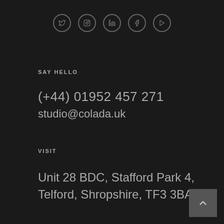[Figure (illustration): Row of 5 social media icons (Twitter, Instagram, LinkedIn, Facebook, Vimeo) as circular outlined icons]
SAY HELLO
(+44) 01952 457 271
studio@colada.uk
VISIT
Unit 28 BDC, Stafford Park 4,
Telford, Shropshire, TF3 3BA.
[Figure (illustration): Back to top button — grey square with upward chevron arrow]